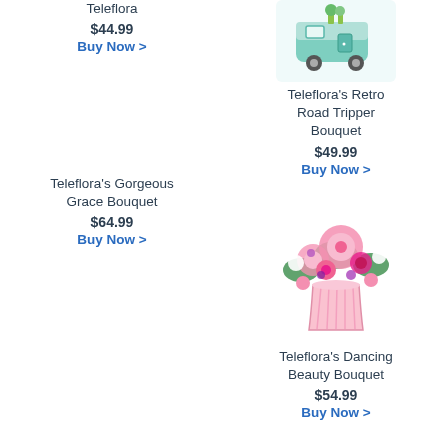Teleflora
$44.99
Buy Now >
[Figure (photo): Teleflora's Retro Road Tripper Bouquet - a vintage camper trailer with flowers]
Teleflora's Retro Road Tripper Bouquet
$49.99
Buy Now >
Teleflora's Gorgeous Grace Bouquet
$64.99
Buy Now >
[Figure (photo): Teleflora's Gorgeous Grace Bouquet - pink and red flowers with lilies in a pink striped vase]
Teleflora's Dancing Beauty Bouquet
$54.99
Buy Now >